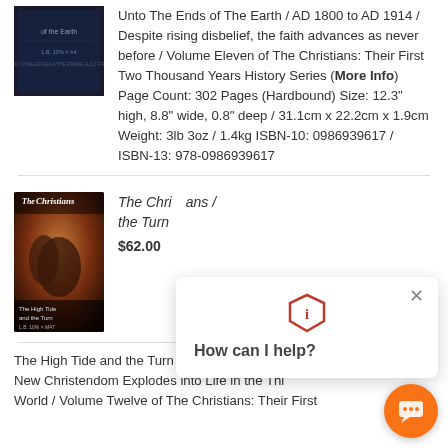[Figure (photo): Book cover thumbnail for 'Unto The Ends of The Earth' - dark background]
Unto The Ends of The Earth / AD 1800 to AD 1914 / Despite rising disbelief, the faith advances as never before / Volume Eleven of The Christians: Their First Two Thousand Years History Series (More Info) Page Count: 302 Pages (Hardbound) Size: 12.3" high, 8.8" wide, 0.8" deep / 31.1cm x 22.2cm x 1.9cm Weight: 3lb 3oz / 1.4kg ISBN-10: 0986939617 / ISBN-13: 978-0986939617
[Figure (photo): Book cover for 'The Christians: The High Tide and the Turn' showing figures in warm tones]
The Chri... the Turn
$62.00
[Figure (screenshot): Chat popup widget with shield logo, close button (X), and 'How can I help?' prompt]
The High Tide and the Turn / AD 1914 to AD... New Christendom Explodes into Life in the Thi... World / Volume Twelve of The Christians: Their First...